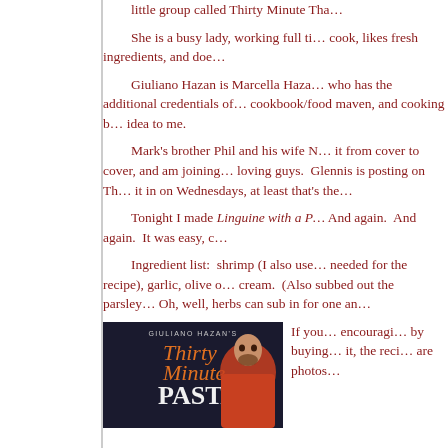little group called Thirty Minute Tha…
She is a busy lady, working full ti… cook, likes fresh ingredients, and doe…
Giuliano Hazan is Marcella Haza… who has the additional credentials of… cookbook/food maven, and cooking b… idea to me.
Mark's brother Phil and his wife N… it from cover to cover, and am joining… loving guys. Glennis is posting on Th… it in on Wednesdays, at least that's the…
Tonight I made Linguine with a P… And again. And again. It was easy, c…
Ingredient list: shrimp (I also use… needed for the recipe), garlic, olive o… cream. (Also subbed out the parsley… Oh, well, herbs can sub in for one an…
[Figure (photo): Cover of Giuliano Hazan's Thirty Minute Pasta book showing the author]
If you… encouragi… by buying… it, the reci… are photos…